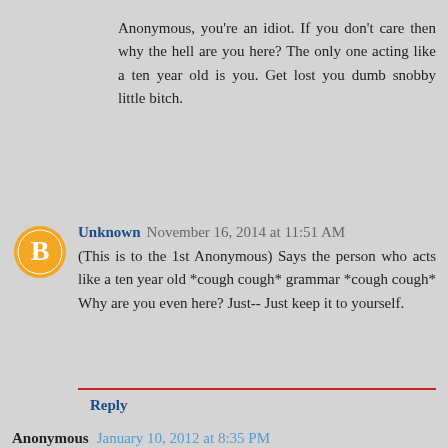Anonymous, you're an idiot. If you don't care then why the hell are you here? The only one acting like a ten year old is you. Get lost you dumb snobby little bitch.
Unknown November 16, 2014 at 11:51 AM
(This is to the 1st Anonymous) Says the person who acts like a ten year old *cough cough* grammar *cough cough* Why are you even here? Just-- Just keep it to yourself.
Reply
Anonymous January 10, 2012 at 8:35 PM
That's why I suggested the thrift store. Some small kid that isn't as fussed about articulation would be able to appreciate her. They sell doll clothes at the dollar store and her head doesn't look too bad without the wig.
Reply